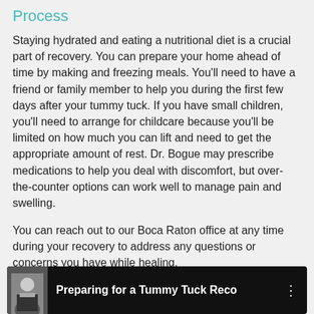Process
Staying hydrated and eating a nutritional diet is a crucial part of recovery. You can prepare your home ahead of time by making and freezing meals. You'll need to have a friend or family member to help you during the first few days after your tummy tuck. If you have small children, you'll need to arrange for childcare because you'll be limited on how much you can lift and need to get the appropriate amount of rest. Dr. Bogue may prescribe medications to help you deal with discomfort, but over-the-counter options can work well to manage pain and swelling.
You can reach out to our Boca Raton office at any time during your recovery to address any questions or concerns you have while healing.
[Figure (screenshot): Video card thumbnail showing a man in a suit with the title 'Preparing for a Tummy Tuck Reco' on a dark background with a menu icon]